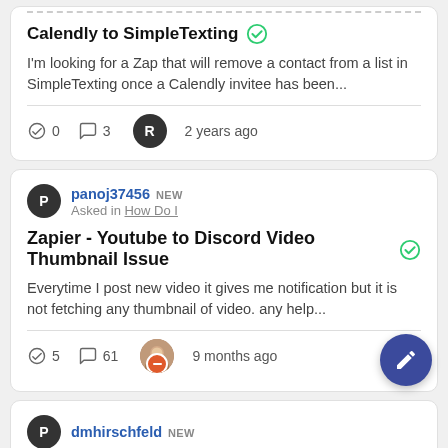Calendly to SimpleTexting
I'm looking for a Zap that will remove a contact from a list in SimpleTexting once a Calendly invitee has been...
0  3  2 years ago
panoj37456  NEW  Asked in How Do I
Zapier - Youtube to Discord Video Thumbnail Issue
Everytime I post new video it gives me notification but it is not fetching any thumbnail of video. any help...
5  61  9 months ago
dmhirschfeld  NEW